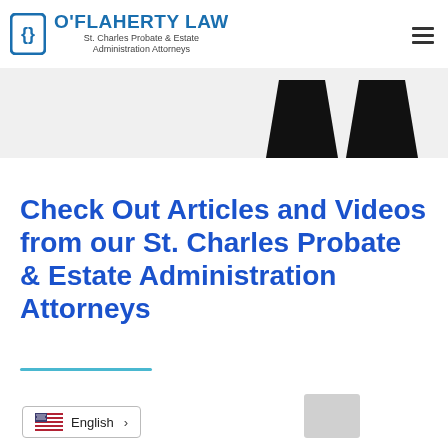O'Flaherty Law — St. Charles Probate & Estate Administration Attorneys
[Figure (photo): Partial view of two people in black business suits, cropped at the shoulders/chest area, on a light gray background]
Check Out Articles and Videos from our St. Charles Probate & Estate Administration Attorneys
English